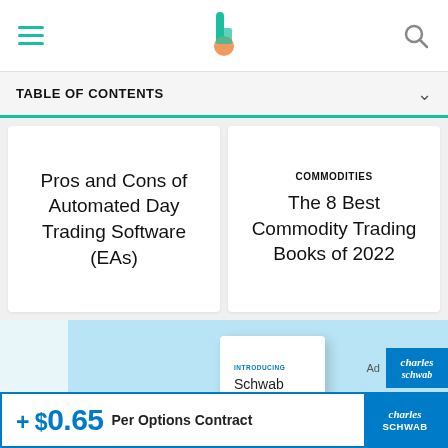[Figure (screenshot): Website navigation bar with hamburger menu icon, center logo (stylized letter with teal and orange), and search icon]
TABLE OF CONTENTS
Pros and Cons of Automated Day Trading Software (EAs)
COMMODITIES
The 8 Best Commodity Trading Books of 2022
[Figure (photo): Advertisement for Schwab Starter Kit - a white box product on light blue background with Charles Schwab logo]
+ $0.65 Per Options Contract
[Figure (logo): Charles Schwab logo in blue box at bottom right]